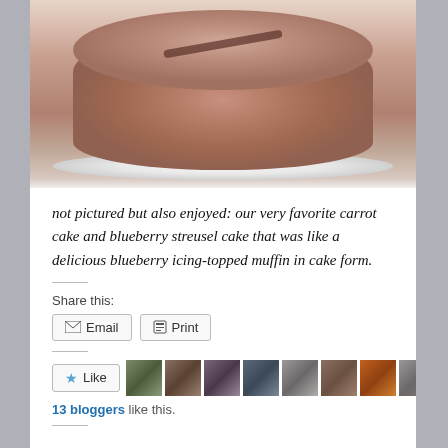[Figure (photo): Close-up photo of a round chocolate or carrot cake on a white plate, showing the domed top surface with a dark crack/line across it, warm reddish-brown color.]
not pictured but also enjoyed: our very favorite carrot cake and blueberry streusel cake that was like a delicious blueberry icing-topped muffin in cake form.
Share this:
Email  Print
[Figure (other): Like button with star icon and 10 small avatar thumbnails of bloggers who liked the post]
13 bloggers like this.